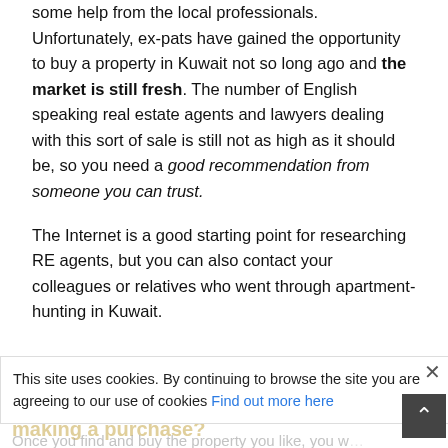some help from the local professionals. Unfortunately, ex-pats have gained the opportunity to buy a property in Kuwait not so long ago and the market is still fresh. The number of English speaking real estate agents and lawyers dealing with this sort of sale is still not as high as it should be, so you need a good recommendation from someone you can trust.
The Internet is a good starting point for researching RE agents, but you can also contact your colleagues or relatives who went through apartment-hunting in Kuwait.
What to pay attention to when making a purchase?
This site uses cookies. By continuing to browse the site you are agreeing to our use of cookies Find out more here
Once you find and buy the property you like, you will be able to come alive...